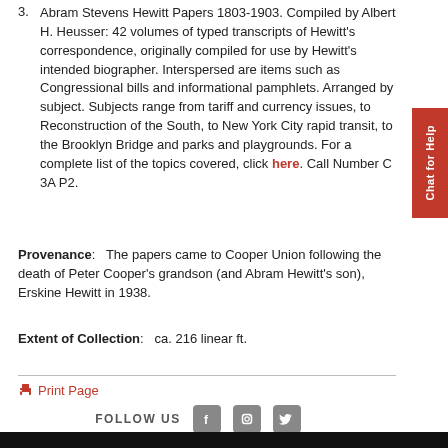3. Abram Stevens Hewitt Papers 1803-1903. Compiled by Albert H. Heusser: 42 volumes of typed transcripts of Hewitt's correspondence, originally compiled for use by Hewitt's intended biographer. Interspersed are items such as Congressional bills and informational pamphlets. Arranged by subject. Subjects range from tariff and currency issues, to Reconstruction of the South, to New York City rapid transit, to the Brooklyn Bridge and parks and playgrounds. For a complete list of the topics covered, click here. Call Number C 3A P2.
Provenance: The papers came to Cooper Union following the death of Peter Cooper's grandson (and Abram Hewitt's son), Erskine Hewitt in 1938.
Extent of Collection: ca. 216 linear ft.
Print Page
FOLLOW US